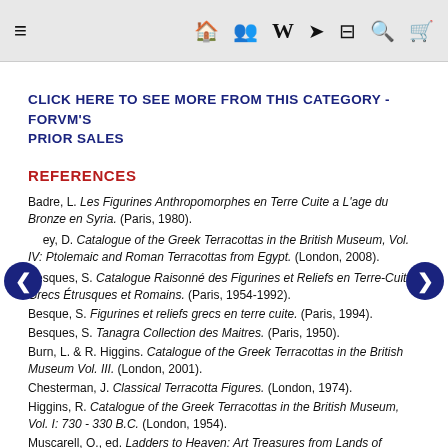≡  [store] [users] W [link] [menu] [search] [cart]
CLICK HERE TO SEE MORE FROM THIS CATEGORY - FORVM's PRIOR SALES
REFERENCES
Badre, L. Les Figurines Anthropomorphes en Terre Cuite a L'age du Bronze en Syria. (Paris, 1980).
ey, D. Catalogue of the Greek Terracottas in the British Museum, Vol. IV: Ptolemaic and Roman Terracottas from Egypt. (London, 2008).
Besques, S. Catalogue Raisonné des Figurines et Reliefs en Terre-Cuite Grecs Étrusques et Romains. (Paris, 1954-1992).
Besque, S. Figurines et reliefs grecs en terre cuite. (Paris, 1994).
Besques, S. Tanagra Collection des Maitres. (Paris, 1950).
Burn, L. & R. Higgins. Catalogue of the Greek Terracottas in the British Museum Vol. III. (London, 2001).
Chesterman, J. Classical Terracotta Figures. (London, 1974).
Higgins, R. Catalogue of the Greek Terracottas in the British Museum, Vol. I: 730 - 330 B.C. (London, 1954).
Muscarell, O., ed. Ladders to Heaven: Art Treasures from Lands of